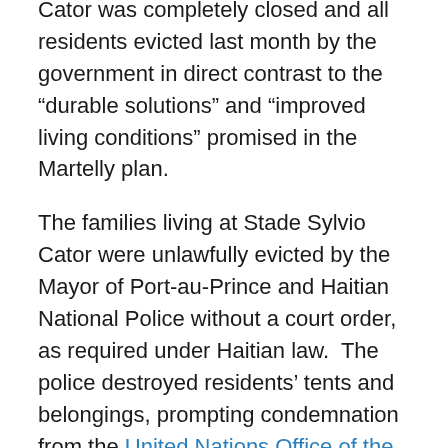Cator was completely closed and all residents evicted last month by the government in direct contrast to the “durable solutions” and “improved living conditions” promised in the Martelly plan.
The families living at Stade Sylvio Cator were unlawfully evicted by the Mayor of Port-au-Prince and Haitian National Police without a court order, as required under Haitian law. The police destroyed residents’ tents and belongings, prompting condemnation from the United Nations Office of the High Commissioner for Human Rights. A survey of former residents of the stadium confirmed that violence and threats of violence were used by Haitian authorities during the eviction in July. Thirty-five percent reported having been physically harmed or threatened with physical harm during the government's eviction,